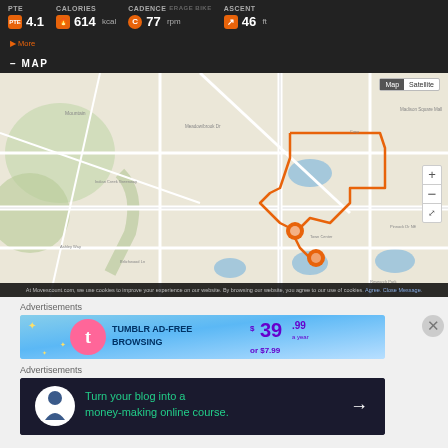PTE  4.1  |  CALORIES  614 kcal  |  CADENCE  77 rpm  |  ASCENT  46 ft
▶ More
- MAP
[Figure (map): Google map showing a cycling/running route traced in orange, located in what appears to be a suburban area. The route forms a irregular loop shape. Orange map pins mark start/end locations. Map/Satellite toggle visible top right. Zoom controls visible on right side.]
At Movescount.com, we use cookies to improve your experience on our website. By browsing our website, you agree to our use of cookies. Agree. Close Message.
Advertisements
[Figure (screenshot): Tumblr Ad-Free Browsing advertisement banner. Blue gradient background. Shows Tumblr logo (pink/white 't'). Text: TUMBLR AD-FREE BROWSING. Price: $39.99 a year or $7.99]
Advertisements
[Figure (screenshot): Dark navy advertisement banner. Shows a circular icon with a person/tree silhouette. Text: Turn your blog into a money-making online course. Arrow pointing right.]